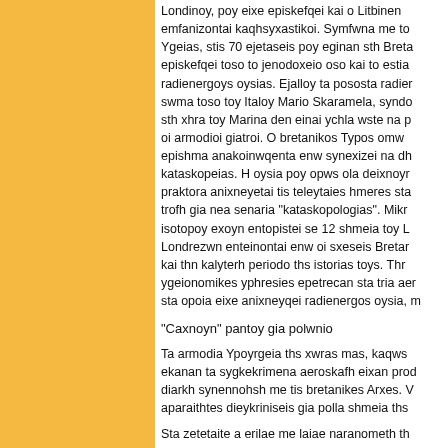Londinoy, poy eixe episkefqei kai o Litbinen emfanizontai kaqhsyxastikoi. Symfwna me to Ygeias, stis 70 ejetaseis poy eginan sth Breta episkefqei toso to jenodoxeio oso kai to estia radienergoys oysias. Ejalloy ta pososta radier swma toso toy Italoy Mario Skaramela, syndo sth xhra toy Marina den einai ychla wste na p oi armodioi giatroi. O bretanikos Typos omw epishma anakoinwqenta enw synexizei na dh kataskopeias. H oysia poy opws ola deixnoyr praktora anixneyetai tis teleytaies hmeres sta trofh gia nea senaria "kataskopologias". Mikr isotopoy exoyn entopistei se 12 shmeia toy L Londrezwn enteinontai enw oi sxeseis Bretar kai thn kalyterh periodo ths istorias toys. Thr ygeionomikes yphresies epetrecan sta tria aer sta opoia eixe anixneyqei radienergos oysia, m
"Caxnoyn" pantoy gia polwnio
Ta armodia Ypoyrgeia ths xwras mas, kaqws ekanan ta sygkekrimena aeroskafh eixan prod diarkh synennohsh me tis bretanikes Arxes. V aparaithtes dieykriniseis gia polla shmeia ths
Sta zetetaite a erilae me laiae naranometh th